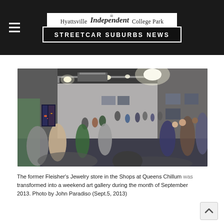Hyattsville Independent College Park — STREETCAR SUBURBS NEWS
[Figure (photo): Interior of a gallery event in a former jewelry store space — people mingling in a wide, brightly lit room with track lighting hanging from an exposed-duct ceiling, artwork hung on white walls, a large crowd of attendees visible throughout the space.]
The former Fleisher's Jewelry store in the Shops at Queens Chillum was transformed into a weekend art gallery during the month of September 2013. Photo by John Paradiso (Sept.5, 2013)